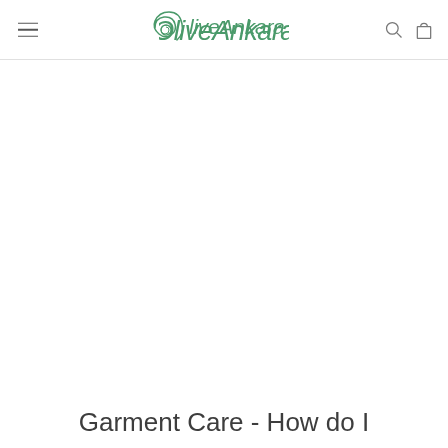OliveAnkara — navigation header with logo, menu, search, and cart icons
Garment Care - How do I